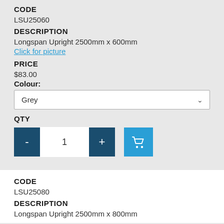CODE
LSU25060
DESCRIPTION
Longspan Upright 2500mm x 600mm
Click for picture
PRICE
$83.00
Colour:
Grey
QTY
- 1 +
CODE
LSU25080
DESCRIPTION
Longspan Upright 2500mm x 800mm